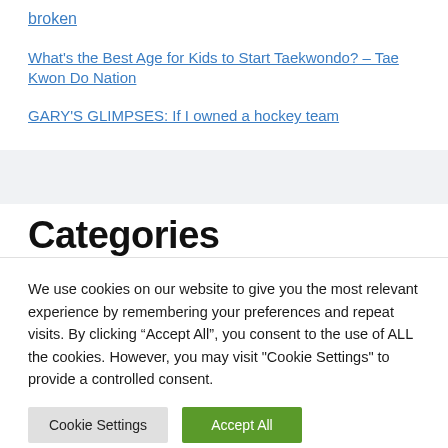broken
What's the Best Age for Kids to Start Taekwondo? – Tae Kwon Do Nation
GARY'S GLIMPSES: If I owned a hockey team
Categories
We use cookies on our website to give you the most relevant experience by remembering your preferences and repeat visits. By clicking "Accept All", you consent to the use of ALL the cookies. However, you may visit "Cookie Settings" to provide a controlled consent.